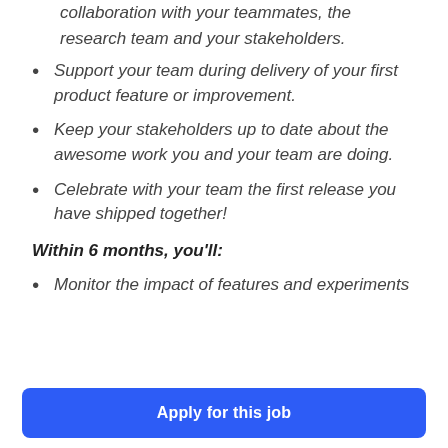collaboration with your teammates, the research team and your stakeholders.
Support your team during delivery of your first product feature or improvement.
Keep your stakeholders up to date about the awesome work you and your team are doing.
Celebrate with your team the first release you have shipped together!
Within 6 months, you'll:
Monitor the impact of features and experiments
Apply for this job